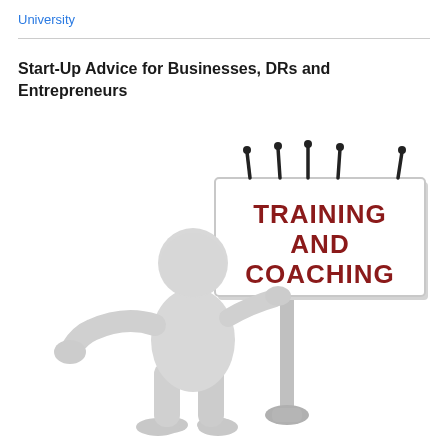University
Start-Up Advice for Businesses, DRs and Entrepreneurs
[Figure (illustration): A 3D white figure character standing next to a billboard sign that reads 'TRAINING AND COACHING' in dark red lettering. The billboard is held up by a pole and has several antenna-like protrusions on top.]